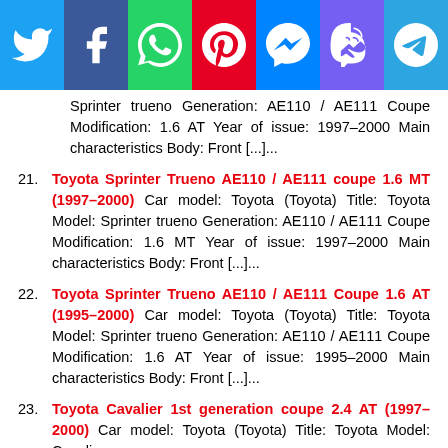[Figure (other): Social media sharing buttons bar: Twitter (blue), Facebook (dark blue), WhatsApp (green), Pinterest (red), Messenger (blue), Viber (purple), Telegram (light blue)]
Sprinter trueno Generation: AE110 / AE111 Coupe Modification: 1.6 AT Year of issue: 1997–2000 Main characteristics Body: Front [...]...
21. Toyota Sprinter Trueno AE110 / AE111 coupe 1.6 MT (1997–2000) Car model: Toyota (Toyota) Title: Toyota Model: Sprinter trueno Generation: AE110 / AE111 Coupe Modification: 1.6 MT Year of issue: 1997–2000 Main characteristics Body: Front [...]...
22. Toyota Sprinter Trueno AE110 / AE111 Coupe 1.6 AT (1995–2000) Car model: Toyota (Toyota) Title: Toyota Model: Sprinter trueno Generation: AE110 / AE111 Coupe Modification: 1.6 AT Year of issue: 1995–2000 Main characteristics Body: Front [...]...
23. Toyota Cavalier 1st generation coupe 2.4 AT (1997–2000) Car model: Toyota (Toyota) Title: Toyota Model: Cavalier